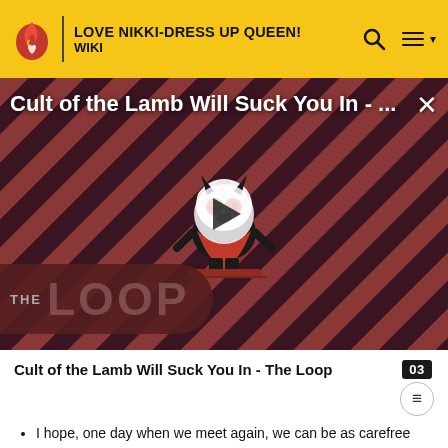LOVE NIKKI-DRESS UP QUEEN! WIKI
[Figure (screenshot): Video thumbnail for 'Cult of the Lamb Will Suck You In - ...' showing an animated lamb character with devil horns and red eyes on a diagonal red/dark striped background with 'THE LOOP' text and a play button overlay.]
Cult of the Lamb Will Suck You In - The Loop
I hope, one day when we meet again, we can be as carefree and hopeful as before, just like on the old afternoons when we hung out together...